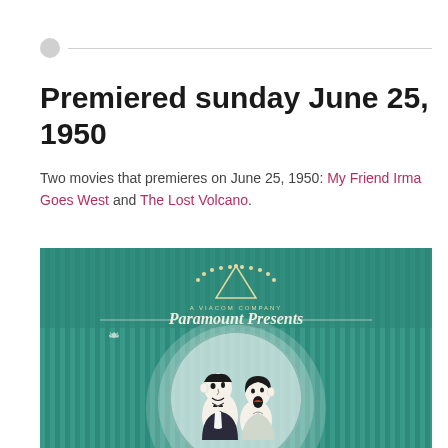Premiered sunday June 25, 1950
Two movies that premieres on June 25, 1950: My Friend Irma Goes West and The Lost Volcano.
[Figure (illustration): Paramount Presents movie poster showing two cartoon characters (a man and a woman) in a spotlight circle on a teal striped background, with the Paramount mountain logo at the top and the text 'Paramount Presents' in script font.]